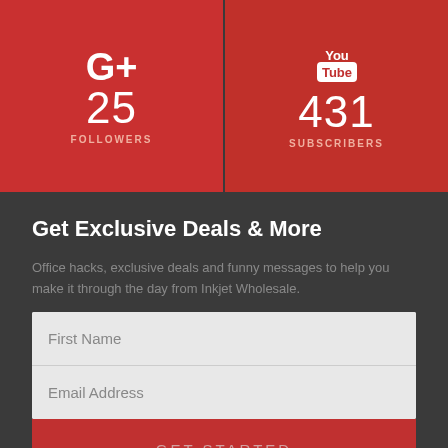[Figure (infographic): Google+ social stats panel: G+ icon, 25 FOLLOWERS]
[Figure (infographic): YouTube social stats panel: YouTube icon, 431 SUBSCRIBERS]
Get Exclusive Deals & More
Office hacks, exclusive deals and funny messages to help you make it through the day from Inkjet Wholesale.
First Name
Email Address
GET STARTED